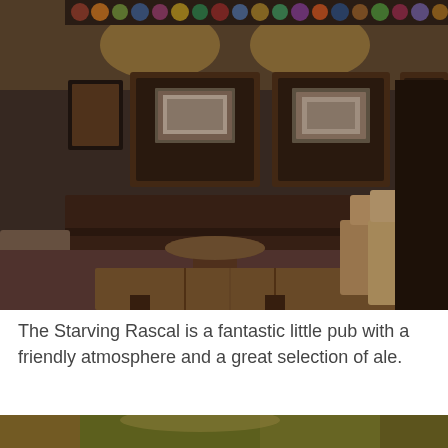[Figure (photo): Interior of The Starving Rascal pub. Dark, cosy room with wooden tables and chairs, upholstered booth seating, framed photo collages on the walls with warm overhead lighting, and beer mats/collectibles displayed along the top of the walls.]
The Starving Rascal is a fantastic little pub with a friendly atmosphere and a great selection of ale.
[Figure (photo): Partial view of another interior photo of the pub, cropped at the bottom of the page.]